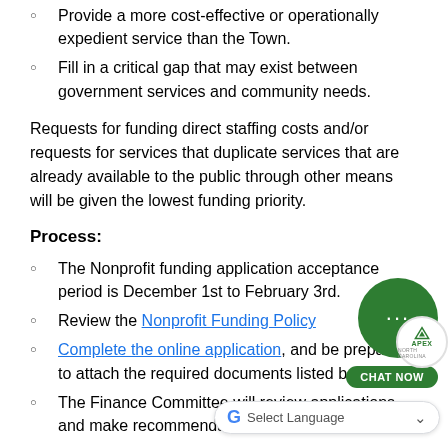Provide a more cost-effective or operationally expedient service than the Town.
Fill in a critical gap that may exist between government services and community needs.
Requests for funding direct staffing costs and/or requests for services that duplicate services that are already available to the public through other means will be given the lowest funding priority.
Process:
The Nonprofit funding application acceptance period is December 1st to February 3rd.
Review the Nonprofit Funding Po[licy].
Complete the online application, and be prepared to attach the required documents listed below.
The Finance Committee will review applications and make recommendations to the Town